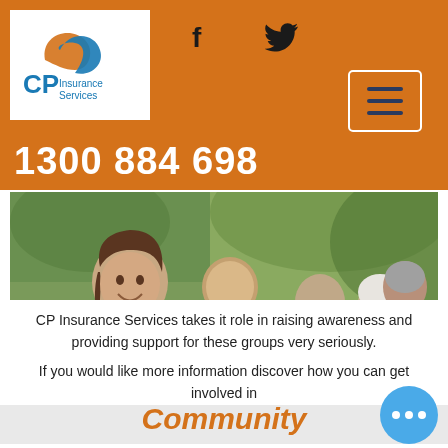[Figure (logo): CP Insurance Services logo with orange swoosh graphic and blue CP text]
f
Twitter bird icon
[Figure (other): Hamburger menu button with three lines]
1300 884 698
[Figure (photo): Group of volunteers wearing grey t-shirts with VOLUNTEER text, smiling outdoors]
Community
CP Insurance Services takes it role in raising awareness and providing support for these groups very seriously.
If you would like more information discover how you can get involved in